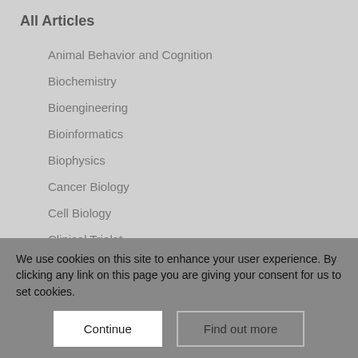All Articles
Animal Behavior and Cognition
Biochemistry
Bioengineering
Bioinformatics
Biophysics
Cancer Biology
Cell Biology
Clinical Trials*
Developmental Biology
Ecology
Epidemiology*
We use cookies on this site to enhance your user experience. By clicking any link on this page you are giving your consent for us to set cookies.
Continue | Find out more